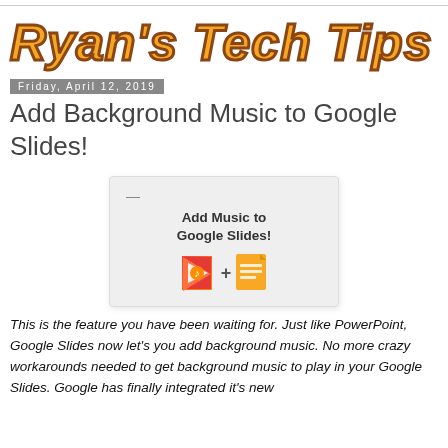Ryan's Tech Tips
Friday, April 12, 2019
Add Background Music to Google Slides!
[Figure (illustration): Thumbnail showing 'Add Music to Google Slides!' with Google Play Music and Google Slides icons connected by a plus sign]
This is the feature you have been waiting for. Just like PowerPoint, Google Slides now let's you add background music. No more crazy workarounds needed to get background music to play in your Google Slides. Google has finally integrated it's new